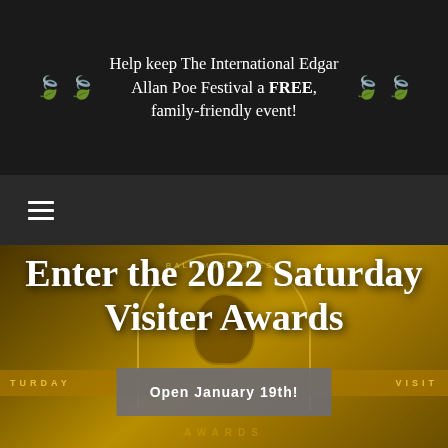Help keep The International Edgar Allan Poe Festival a FREE, family-friendly event!
[Figure (screenshot): Navigation bar with hamburger menu icon (three horizontal lines) on dark background]
[Figure (photo): Background image showing a golden award sign with Baltimore Presents text in an arch, featuring a portrait medallion, and the Saturday Visiter Awards text on a banner]
Enter the 2022 Saturday Visiter Awards
Open January 19th!